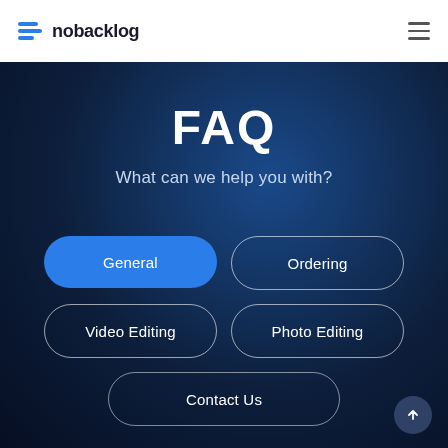nobacklog
FAQ
What can we help you with?
General
Ordering
Video Editing
Photo Editing
Contact Us